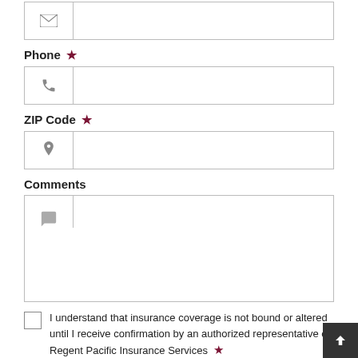Email field (icon input)
Phone ★
ZIP Code ★
Comments
I understand that insurance coverage is not bound or altered until I receive confirmation by an authorized representative of Regent Pacific Insurance Services ★
Submit
We respect your privacy. Your information will be sent securely and handled with care. View our privacy policy.